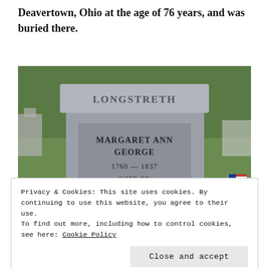Deavertown, Ohio at the age of 76 years, and was buried there.
[Figure (photo): Gravestone for Margaret Ann George (1760–1837) wife of John Longstreth (1752–1854), Lt. of Bedford Co. PA. Gray granite monument with 'LONGSTRETH' carved on top, set in a green grassy cemetery with an American flag visible to the right.]
Privacy & Cookies: This site uses cookies. By continuing to use this website, you agree to their use.
To find out more, including how to control cookies, see here: Cookie Policy
Close and accept